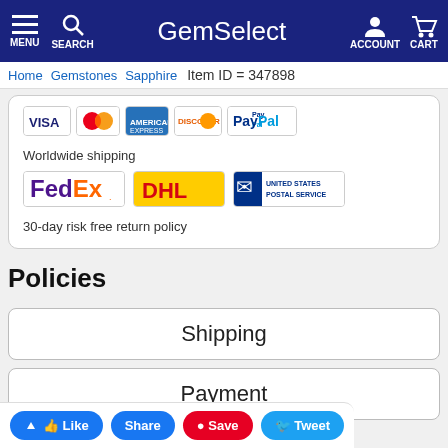GemSelect — MENU, SEARCH, ACCOUNT, CART
Home  Gemstones  Sapphire  Item ID = 347898
[Figure (logo): Payment logos: VISA, Mastercard, American Express, Discover, PayPal]
Worldwide shipping
[Figure (logo): Shipping carrier logos: FedEx, DHL, United States Postal Service]
30-day risk free return policy
Policies
Shipping
Payment
[Figure (other): Social sharing bar with Like, Share, Save, Tweet buttons]